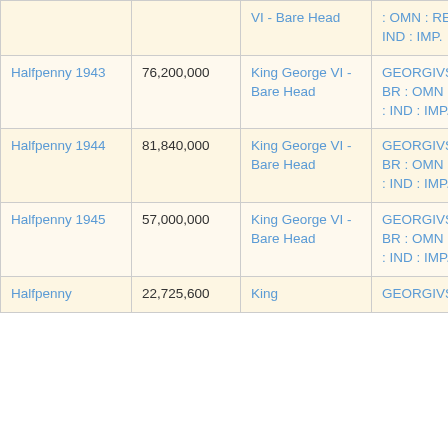| Name | Mintage | Obverse | Legend |
| --- | --- | --- | --- |
| Halfpenny 1943 | 76,200,000 | King George VI - Bare Head | GEORGIVS VI D : G : BR : OMN : REX F : D : IND : IMP. |
| Halfpenny 1944 | 81,840,000 | King George VI - Bare Head | GEORGIVS VI D : G : BR : OMN : REX F : D : IND : IMP. |
| Halfpenny 1945 | 57,000,000 | King George VI - Bare Head | GEORGIVS VI D : G : BR : OMN : REX F : D : IND : IMP. |
| Halfpenny | 22,725,600 | King | GEORGIVS |